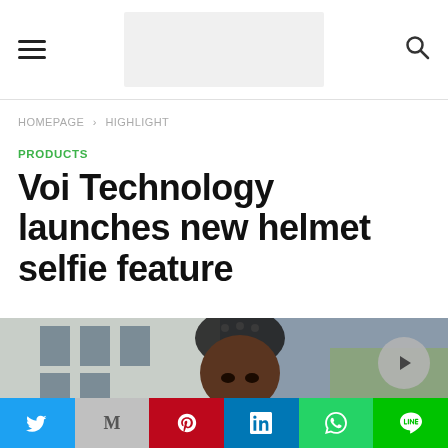[hamburger menu] [logo placeholder] [search icon]
HOMEPAGE > HIGHLIGHT
PRODUCTS
Voi Technology launches new helmet selfie feature
[Figure (photo): Woman wearing a black bicycle helmet outdoors, with a building in the background. A play button overlay appears in the lower right.]
Social share bar: Twitter, Gmail, Pinterest, LinkedIn, WhatsApp, LINE